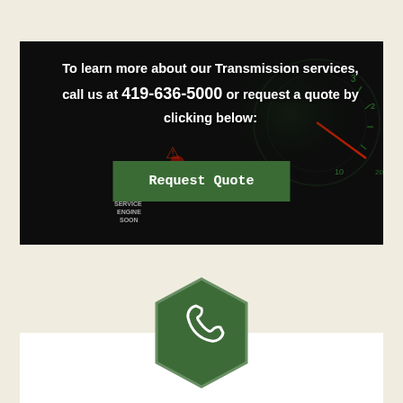[Figure (infographic): Dark dashboard/car instrument panel background with service engine soon warning light and gauge displays in red and green]
To learn more about our Transmission services, call us at 419-636-5000 or request a quote by clicking below:
[Figure (other): Green hexagon shaped icon with a white telephone handset symbol inside]